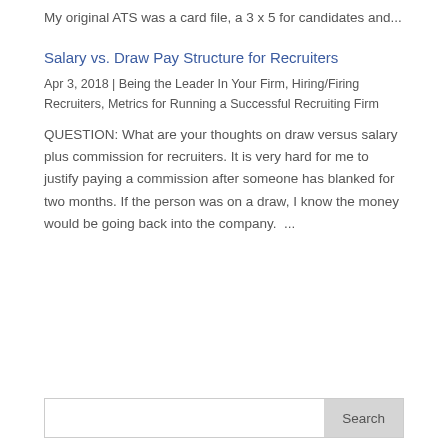My original ATS was a card file, a 3 x 5 for candidates and...
Salary vs. Draw Pay Structure for Recruiters
Apr 3, 2018 | Being the Leader In Your Firm, Hiring/Firing Recruiters, Metrics for Running a Successful Recruiting Firm
QUESTION: What are your thoughts on draw versus salary plus commission for recruiters. It is very hard for me to justify paying a commission after someone has blanked for two months. If the person was on a draw, I know the money would be going back into the company.  ...